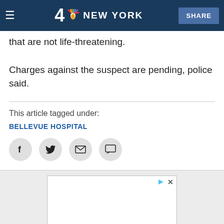NBC 4 NEW YORK — SHARE
Two victims were taken to Bellevue Hospital with injuries that are not life-threatening.
Charges against the suspect are pending, police said.
This article tagged under:
BELLEVUE HOSPITAL
[Figure (other): Social sharing icons: Facebook, Twitter, Email, Comment]
[Figure (other): Advertisement placeholder box with play and close controls]